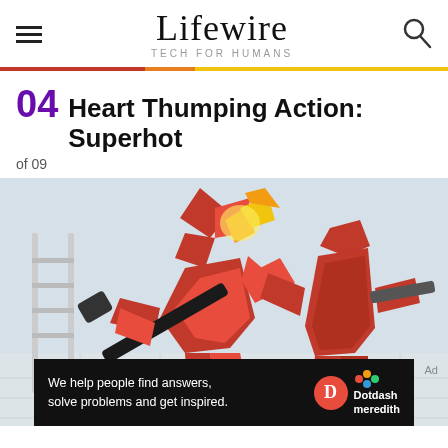Lifewire — TECH FOR HUMANS
04 Heart Thumping Action: Superhot
of 09
[Figure (photo): Screenshot from Superhot VR game showing red low-poly crystal figures fighting with a hammer in a white environment]
We help people find answers, solve problems and get inspired. Dotdash meredith